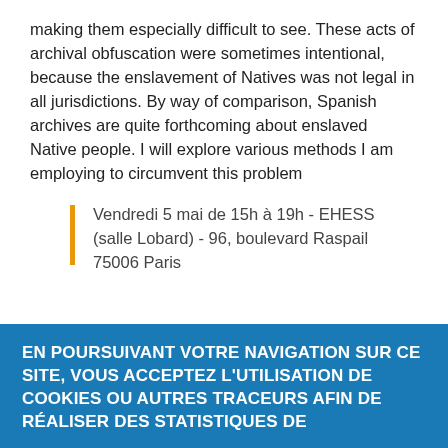making them especially difficult to see. These acts of archival obfuscation were sometimes intentional, because the enslavement of Natives was not legal in all jurisdictions. By way of comparison, Spanish archives are quite forthcoming about enslaved Native people. I will explore various methods I am employing to circumvent this problem
Vendredi 5 mai de 15h à 19h - EHESS (salle Lobard) - 96, boulevard Raspail 75006 Paris
EN POURSUIVANT VOTRE NAVIGATION SUR CE SITE, VOUS ACCEPTEZ L'UTILISATION DE COOKIES OU AUTRES TRACEURS AFIN DE RÉALISER DES STATISTIQUES DE